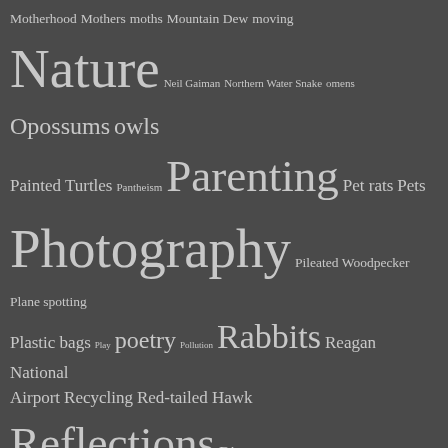[Figure (other): A tag cloud on a dark gray background showing various blog/website tags in different font sizes indicating frequency. Tags include Nature, Photography, Parenting, Reflections, Spring, Snakes, summer, Trash, Trash collecting, and many others in smaller sizes.]